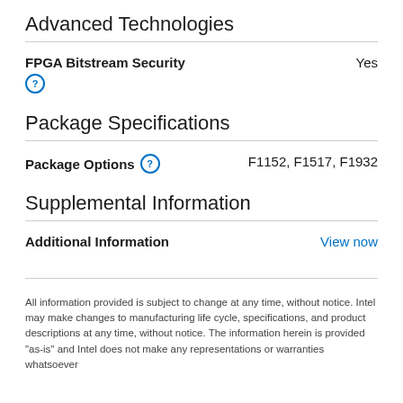Advanced Technologies
| Property | Value |
| --- | --- |
| FPGA Bitstream Security | Yes |
Package Specifications
| Property | Value |
| --- | --- |
| Package Options | F1152, F1517, F1932 |
Supplemental Information
| Property | Value |
| --- | --- |
| Additional Information | View now |
All information provided is subject to change at any time, without notice. Intel may make changes to manufacturing life cycle, specifications, and product descriptions at any time, without notice. The information herein is provided "as-is" and Intel does not make any representations or warranties whatsoever